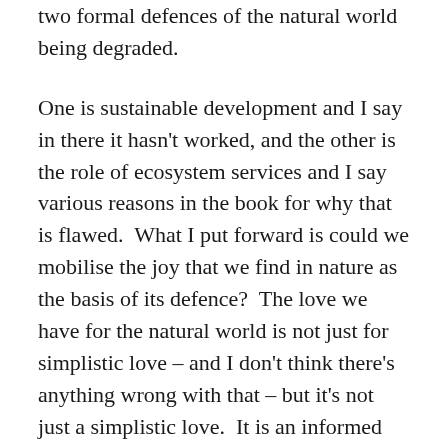two formal defences of the natural world being degraded.
One is sustainable development and I say in there it hasn't worked, and the other is the role of ecosystem services and I say various reasons in the book for why that is flawed.  What I put forward is could we mobilise the joy that we find in nature as the basis of its defence?  The love we have for the natural world is not just for simplistic love – and I don't think there's anything wrong with that – but it's not just a simplistic love.  It is an informed love about how important the natural world is to our psyches.
I suppose if you're saying in terms of looking at